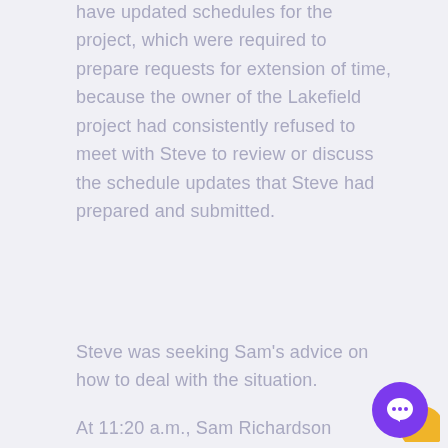have updated schedules for the project, which were required to prepare requests for extension of time, because the owner of the Lakefield project had consistently refused to meet with Steve to review or discuss the schedule updates that Steve had prepared and submitted.
Steve was seeking Sam's advice on how to deal with the situation.
At 11:20 a.m., Sam Richardson received a call from Pat Jacobson of Fieldstone. While excavating for the new irrigation lines, Fieldstone had discovered an unmarked underground storage tank and piping. Pat reported that Fieldstone had excavated around the discovered tank and piping. Fieldstone determined that the tank and piping were not connected to any other source, and appeared to consist of a 10'x10'x10' out-of-use tank that had water and ten to twelve ten rusted pipes of varying lengths that had been discarded and buried. Pat asked